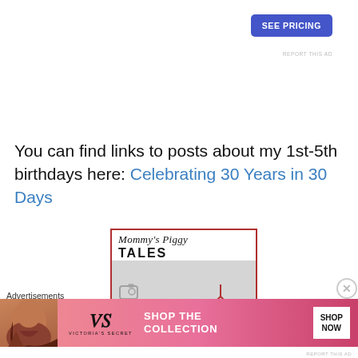[Figure (other): Blue 'SEE PRICING' button in upper right]
REPORT THIS AD
You can find links to posts about my 1st-5th birthdays here: Celebrating 30 Years in 30 Days
[Figure (logo): Mommy's Piggy Tales blog logo with script title and bicycle image]
Advertisements
[Figure (other): Victoria's Secret advertisement banner with model photo, VS logo, 'SHOP THE COLLECTION' text, and 'SHOP NOW' button]
REPORT THIS AD